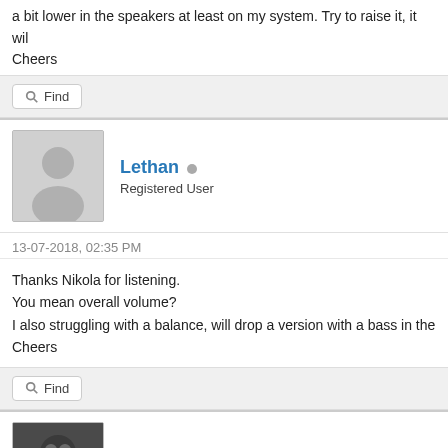a bit lower in the speakers at least on my system. Try to raise it, it wil
Cheers
Find
Lethan • Registered User
13-07-2018, 02:35 PM
Thanks Nikola for listening.
You mean overall volume?
I also struggling with a balance, will drop a version with a bass in the
Cheers
Find
Nikola Mikovic • PT 12 HD,Waves,UA,AKG 240,Focal Alpha 65